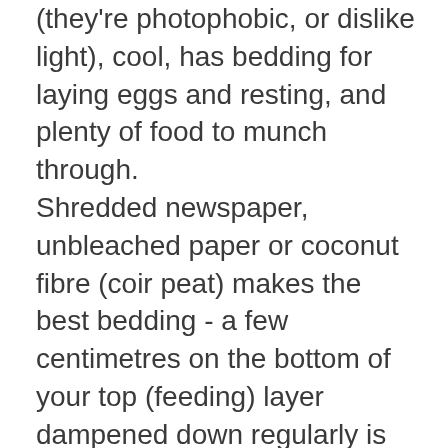(they're photophobic, or dislike light), cool, has bedding for laying eggs and resting, and plenty of food to munch through. Shredded newspaper, unbleached paper or coconut fibre (coir peat) makes the best bedding - a few centimetres on the bottom of your top (feeding) layer dampened down regularly is perfect. They'll eat through this slowly too, so replace bedding as required. A 'blanket' or covering on top is important to retain moisture and darkness, so keep this damp and in place at all times. You can simply use a folded 1/2 newspaper, hessian coffee sack, or buy a woollen 'worm blanket' if you like. Make sure you aren't